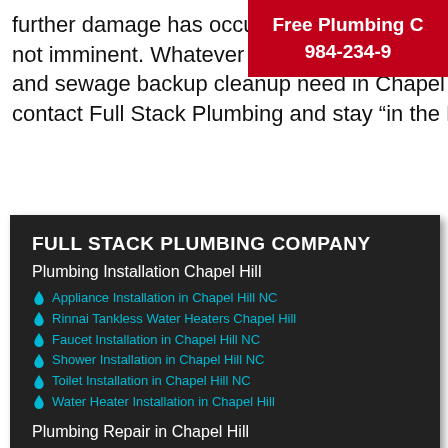further damage has occurred and sewage backup cleanup need in Chapel Hill NC, contact Full Stack Plumbing and stay “in the Flow”.
[Figure (other): Red banner with text: Free Plumbing C... 984-234-9...]
FULL STACK PLUMBING COMPANY
Plumbing Installation Chapel Hill
Appliance Installation in Chapel Hill NC
Rinnai Tankless Water Heaters Chapel Hill
Faucet Installation in Chapel Hill NC
Shower Installation in Chapel Hill NC
Toilet Installation in Chapel Hill NC
Water Heater Installation in Chapel Hill
Plumbing Repair in Chapel Hill